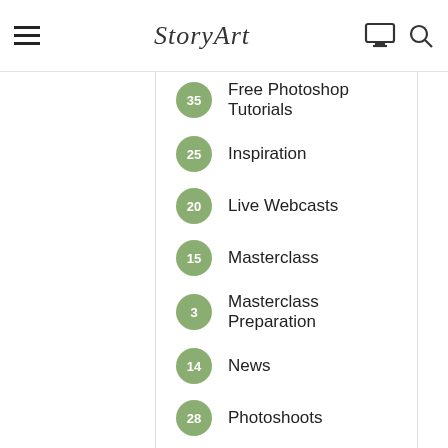StoryArt
35 Free Photoshop Tutorials
25 Inspiration
20 Live Webcasts
15 Masterclass
3 Masterclass Preparation
14 News
28 Photoshoots
95 Photoshop
7 Photoshop 101
4 Portraits
14 Presentations
35 Quick Tips
Video